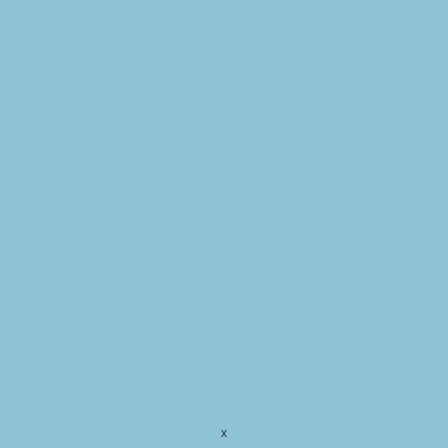| Type | Method / Description |
| --- | --- |
| void | disable(...)
Throwable ...
Ca...
for the re...
is no long... |
| List<
Notification> | getAllE...
Ge...
currently... |
| Object | getCurr...
G...
data. |
| String | getCurr...
Ob...
evaluated... |
| EMFEventType | getEven...
In...
obtains t...
validated... |
| EStructuralFeature | getFeat...
In...
obtains th...
is trigger... |
x